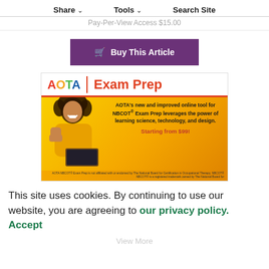Share   Tools   Search Site
Pay-Per-View Access $15.00
[Figure (other): Purple 'Buy This Article' button with shopping cart icon]
[Figure (infographic): AOTA Exam Prep advertisement on yellow/orange gradient background. Shows AOTA logo, 'Exam Prep' text in red, a woman in yellow sweater with laptop. Text: AOTA's new and improved online tool for NBCOT® Exam Prep leverages the power of learning science, technology, and design. Starting from $99!]
This site uses cookies. By continuing to use our website, you are agreeing to our privacy policy. Accept